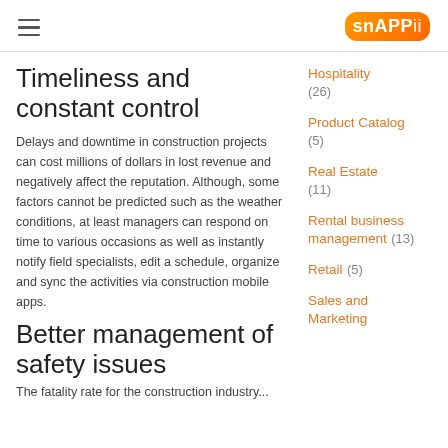snAPPii (logo)
Timeliness and constant control
Delays and downtime in construction projects can cost millions of dollars in lost revenue and negatively affect the reputation. Although, some factors cannot be predicted such as the weather conditions, at least managers can respond on time to various occasions as well as instantly notify field specialists, edit a schedule, organize and sync the activities via construction mobile apps.
Hospitality (26)
Product Catalog (5)
Real Estate (11)
Rental business management (13)
Better management of safety issues
Retail (5)
Sales and Marketing
The fatality rate for the construction industry...